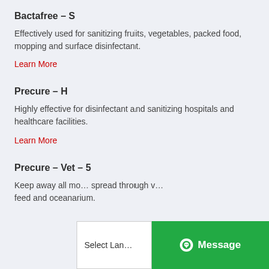Bactafree – S
Effectively used for sanitizing fruits, vegetables, packed food, mopping and surface disinfectant.
Learn More
Precure – H
Highly effective for disinfectant and sanitizing hospitals and healthcare facilities.
Learn More
Precure – Vet – 5
Keep away all mo… spread through v… feed and oceanarium.